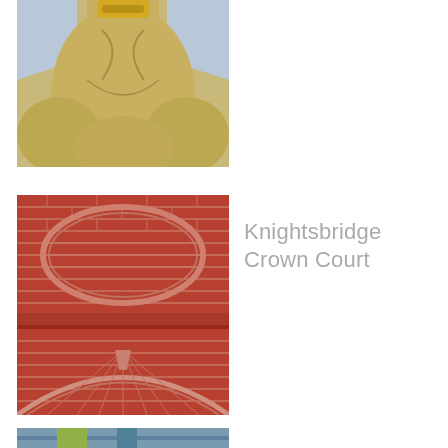[Figure (photo): Close-up photograph of a sandstone/stone statue base showing folds of a robe or garment, with a gold ring or crown at the top and rounded protrusions at the bottom]
[Figure (photo): Close-up photograph of red brick architectural detail showing an oval/elliptical decorative moulding set into a brick wall, with an arched brick detail below]
Knightsbridge Crown Court
[Figure (photo): Partial photograph visible at the very bottom of the page, appears to show an outdoor scene]